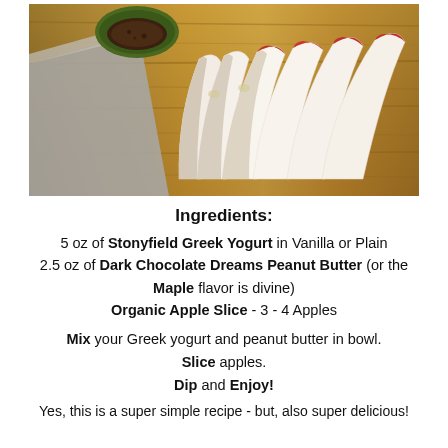[Figure (photo): Photo of sliced apple wedges fanned out on a wooden cutting board, with a small green bowl containing dark peanut butter mixture in the upper left corner.]
Ingredients:
5 oz of Stonyfield Greek Yogurt in Vanilla or Plain
2.5 oz of Dark Chocolate Dreams Peanut Butter (or the Maple flavor is divine)
Organic Apple Slice - 3 - 4 Apples
Mix your Greek yogurt and peanut butter in bowl.
Slice apples.
Dip and Enjoy!
Yes, this is a super simple recipe - but, also super delicious!